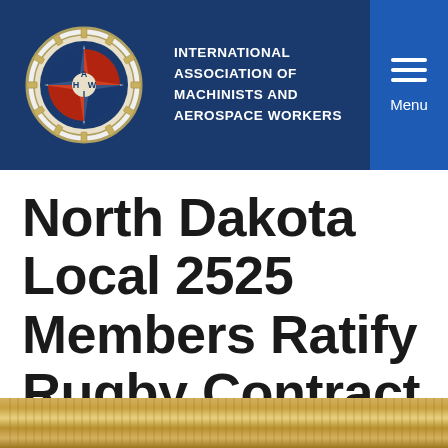INTERNATIONAL ASSOCIATION OF MACHINISTS AND AEROSPACE WORKERS
North Dakota Local 2525 Members Ratify Rugby Contract
IMAIL
January 26, 2017
[Figure (photo): Bottom strip showing what appears to be metallic or industrial surface texture]